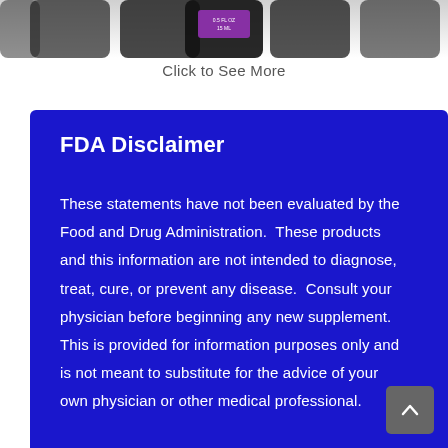[Figure (photo): Product bottles partially visible at top of page, cropped]
Click to See More
FDA Disclaimer
These statements have not been evaluated by the Food and Drug Administration.  These products and this information are not intended to diagnose, treat, cure, or prevent any disease.  Consult your physician before beginning any new supplement.  This is provided for information purposes only and is not meant to substitute for the advice of your own physician or other medical professional.